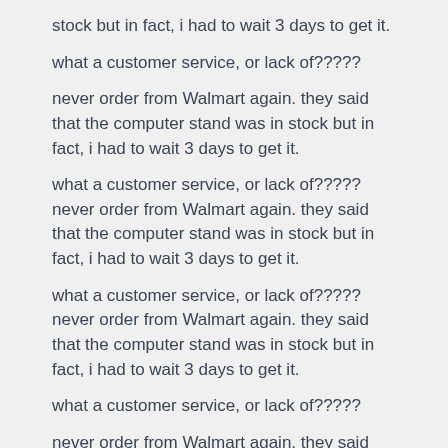stock but in fact, i had to wait 3 days to get it.
what a customer service, or lack of?????
never order from Walmart again. they said that the computer stand was in stock but in fact, i had to wait 3 days to get it.
what a customer service, or lack of?????never order from Walmart again. they said that the computer stand was in stock but in fact, i had to wait 3 days to get it.
what a customer service, or lack of?????never order from Walmart again. they said that the computer stand was in stock but in fact, i had to wait 3 days to get it.
what a customer service, or lack of?????
never order from Walmart again. they said that the computer stand was in stock but in fact, i had to wait 3 days to get it.
what a customer service, or lack of?????
never order from Walmart again. they said that the